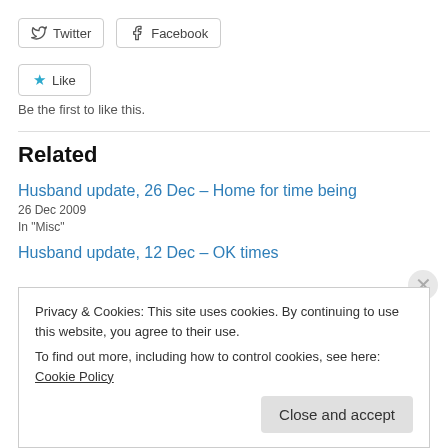[Figure (other): Twitter and Facebook share buttons]
[Figure (other): Like button with star icon]
Be the first to like this.
Related
Husband update, 26 Dec – Home for time being
26 Dec 2009
In "Misc"
Husband update, 12 Dec – OK times
Privacy & Cookies: This site uses cookies. By continuing to use this website, you agree to their use.
To find out more, including how to control cookies, see here: Cookie Policy
Close and accept